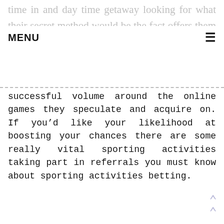time in and day time getaway looking for what their secret method would be the fact offers them a carrying on with
MENU ≡
successful volume around the online games they speculate and acquire on. If you'd like your likelihood at boosting your chances there are some really vital sporting activities taking part in referrals you must know about sporting activities betting.
[Figure (photo): Sports BETTING promotional image showing multiple sports balls including basketball, soccer ball, volleyball, football, tennis ball, and baseball on a dark background with a dollar sign watermark.]
↑↑